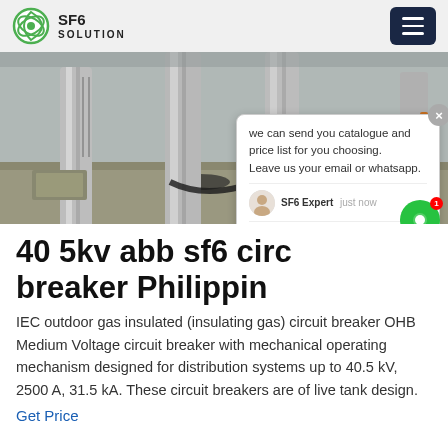SF6 SOLUTION
[Figure (photo): Outdoor SF6 circuit breaker installation showing metal poles/columns and electrical equipment on a concrete surface]
40 5kv abb sf6 circuit breaker Philippines
IEC outdoor gas insulated (insulating gas) circuit breaker OHB Medium Voltage circuit breaker with mechanical operating mechanism designed for distribution systems up to 40.5 kV, 2500 A, 31.5 kA. These circuit breakers are of live tank design.
Get Price